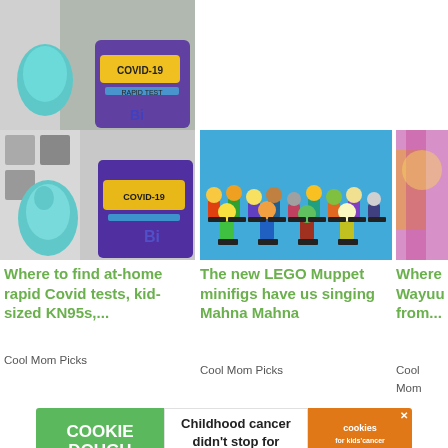[Figure (photo): Article thumbnail: at-home rapid Covid tests and KN95 masks]
Where to find at-home rapid Covid tests, kid-sized KN95s,...
Cool Mom Picks
[Figure (photo): Article thumbnail: LEGO Muppet minifigures on blue background]
The new LEGO Muppet minifigs have us singing Mahna Mahna
Cool Mom Picks
[Figure (photo): Article thumbnail: partial view of colorful clothing]
Where... Wayuu... from...
Cool Mom Picks
[Figure (other): Advertisement banner: Cookie Dough for Kids Cancer - Childhood cancer didn't stop for COVID-19. GET BAKING]
[Figure (other): Social share buttons: Facebook, Twitter, Email, Pinterest, LinkedIn, Share]
Comments: 592
[Figure (other): Bottom advertisement banner: Cookie Dough - Childhood cancer didn't stop for COVID-19. GET BAKING]